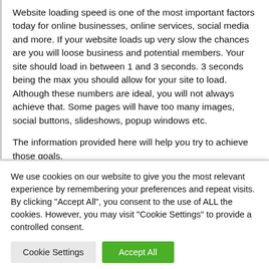Website loading speed is one of the most important factors today for online businesses, online services, social media and more. If your website loads up very slow the chances are you will loose business and potential members. Your site should load in between 1 and 3 seconds. 3 seconds being the max you should allow for your site to load. Although these numbers are ideal, you will not always achieve that. Some pages will have too many images, social buttons, slideshows, popup windows etc.
The information provided here will help you try to achieve those goals.
We use cookies on our website to give you the most relevant experience by remembering your preferences and repeat visits. By clicking "Accept All", you consent to the use of ALL the cookies. However, you may visit "Cookie Settings" to provide a controlled consent.